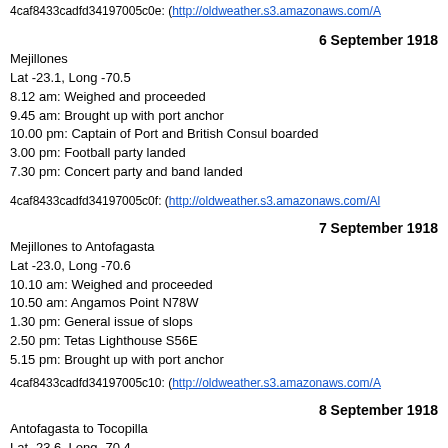4caf8433cadfd34197005c0e: (http://oldweather.s3.amazonaws.com/A
6 September 1918
Mejillones
Lat -23.1, Long -70.5
8.12 am: Weighed and proceeded
9.45 am: Brought up with port anchor
10.00 pm: Captain of Port and British Consul boarded
3.00 pm: Football party landed
7.30 pm: Concert party and band landed
4caf8433cadfd34197005c0f: (http://oldweather.s3.amazonaws.com/Al
7 September 1918
Mejillones to Antofagasta
Lat -23.0, Long -70.6
10.10 am: Weighed and proceeded
10.50 am: Angamos Point N78W
1.30 pm: General issue of slops
2.50 pm: Tetas Lighthouse S56E
5.15 pm: Brought up with port anchor
4caf8433cadfd34197005c10: (http://oldweather.s3.amazonaws.com/A
8 September 1918
Antofagasta to Tocopilla
Lat -23.6, Long -70.4
4.50 pm: Weighed and proceeded
7.00 pm: Tetas Point Lighthouse N22E
9.55 pm: Angamos Point Lighthouse N28E